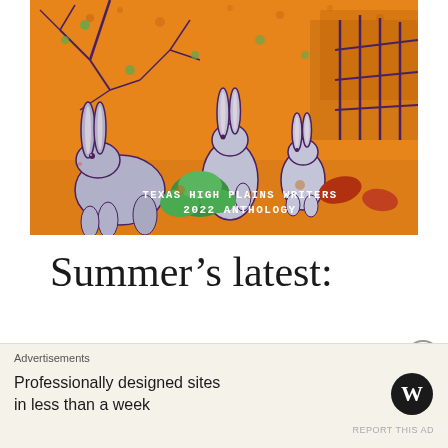[Figure (illustration): Orange-background illustration showing three jackrabbits/hares in a desert landscape with trees and a fence. Text reads 'TEXAS HIGH PLAINS WRITERS 2022 ANTHOLOGY'. Green plant and reddish seeds visible in foreground.]
Summer’s latest:
Advertisements
Professionally designed sites in less than a week